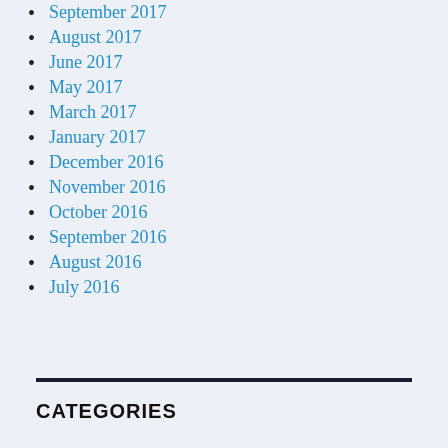September 2017
August 2017
June 2017
May 2017
March 2017
January 2017
December 2016
November 2016
October 2016
September 2016
August 2016
July 2016
CATEGORIES